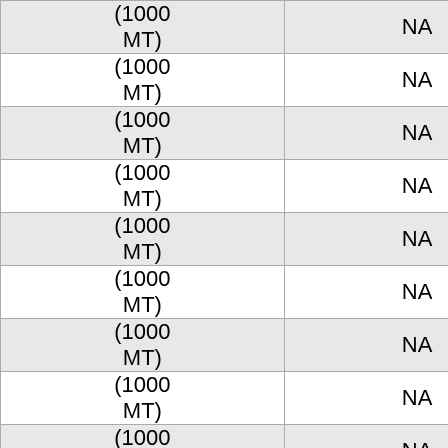| Year | Value | Unit | Note |
| --- | --- | --- | --- |
| 1967 | 0 | (1000 MT) | NA |
| 1968 | 0 | (1000 MT) | NA |
| 1969 | 0 | (1000 MT) | NA |
| 1970 | 0 | (1000 MT) | NA |
| 1971 | 0 | (1000 MT) | NA |
| 1972 | 0 | (1000 MT) | NA |
| 1973 | 0 | (1000 MT) | NA |
| 1974 | 0 | (1000 MT) | NA |
| 1975 | 0 | (1000 MT) | NA |
| 1976 | 0 | (1000 MT) | NA |
| 1977 | 0 | (1000 MT) | NA |
| 1978 | 0 | (1000 | NA |